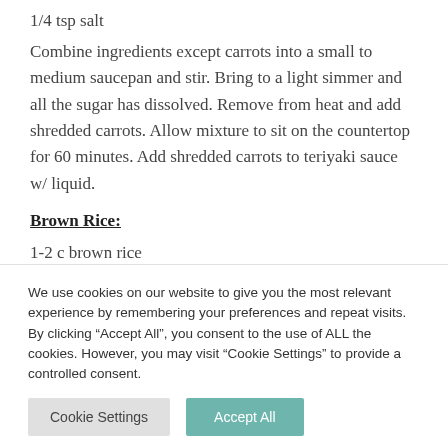1/4 tsp salt
Combine ingredients except carrots into a small to medium saucepan and stir. Bring to a light simmer and all the sugar has dissolved. Remove from heat and add shredded carrots. Allow mixture to sit on the countertop for 60 minutes. Add shredded carrots to teriyaki sauce w/ liquid.
Brown Rice:
1-2 c brown rice
salt
We use cookies on our website to give you the most relevant experience by remembering your preferences and repeat visits. By clicking “Accept All”, you consent to the use of ALL the cookies. However, you may visit “Cookie Settings” to provide a controlled consent.